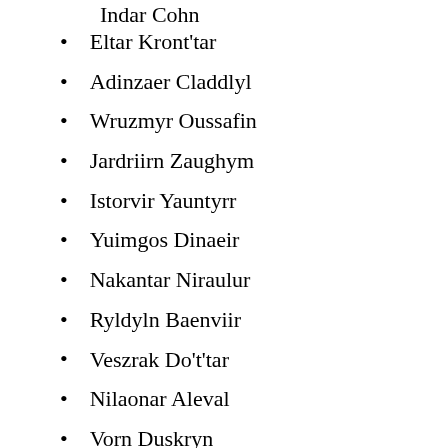Indar Cohn
Eltar Kront'tar
Adinzaer Claddlyl
Wruzmyr Oussafin
Jardriirn Zaughym
Istorvir Yauntyrr
Yuimgos Dinaeir
Nakantar Niraulur
Ryldyln Baenviir
Veszrak Do't'tar
Nilaonar Aleval
Vorn Duskryn
Lesaodrin Glaurar
Riklaudor Jhalaryd
Mabathar Davaeln